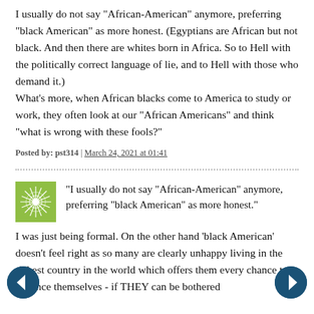I usually do not say "African-American" anymore, preferring "black American" as more honest. (Egyptians are African but not black. And then there are whites born in Africa. So to Hell with the politically correct language of lie, and to Hell with those who demand it.) What's more, when African blacks come to America to study or work, they often look at our "African Americans" and think "what is wrong with these fools?"
Posted by: pst314 | March 24, 2021 at 01:41
[Figure (illustration): Green square avatar with snowflake/starburst pattern]
"I usually do not say "African-American" anymore, preferring "black American" as more honest."
I was just being formal. On the other hand 'black American' doesn't feel right as so many are clearly unhappy living in the richest country in the world which offers them every chance to advance themselves - if THEY can be bothered